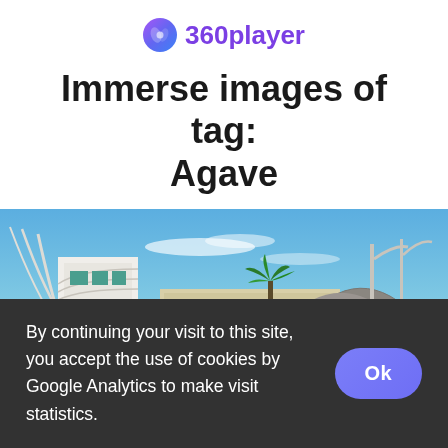360player
Immerse images of tag: Agave
[Figure (photo): 360-degree panoramic photo showing a modern white building with curved architecture, palm trees, a mountain in the background, and light poles under a blue sky.]
By continuing your visit to this site, you accept the use of cookies by Google Analytics to make visit statistics.